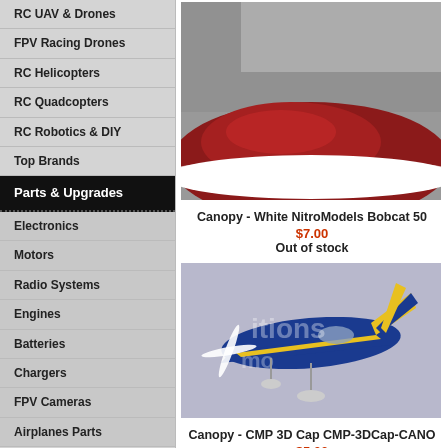RC UAV & Drones
FPV Racing Drones
RC Helicopters
RC Quadcopters
RC Robotics & DIY
Top Brands
Parts & Upgrades
Electronics
Motors
Radio Systems
Engines
Batteries
Chargers
FPV Cameras
Airplanes Parts
[Figure (photo): Close-up of a white and dark red aircraft canopy part]
Canopy - White NitroModels Bobcat 50
$7.00
Out of stock
[Figure (photo): RC airplane model, blue and yellow, CMP 3D Cap design]
Canopy - CMP 3D Cap CMP-3DCap-CANO
$5.00
Out of stock